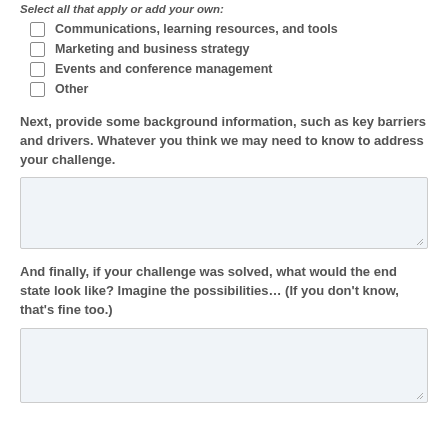Select all that apply or add your own:
Communications, learning resources, and tools
Marketing and business strategy
Events and conference management
Other
Next, provide some background information, such as key barriers and drivers. Whatever you think we may need to know to address your challenge.
And finally, if your challenge was solved, what would the end state look like? Imagine the possibilities… (If you don't know, that's fine too.)